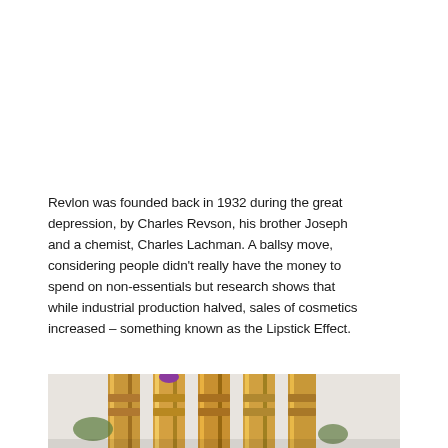Revlon was founded back in 1932 during the great depression, by Charles Revson, his brother Joseph and a chemist, Charles Lachman. A ballsy move, considering people didn't really have the money to spend on non-essentials but research shows that while industrial production halved, sales of cosmetics increased – something known as the Lipstick Effect.
[Figure (photo): Photo of multiple lipstick tubes with gold metallic casings, one with a purple/violet lipstick visible, arranged together on a light background]